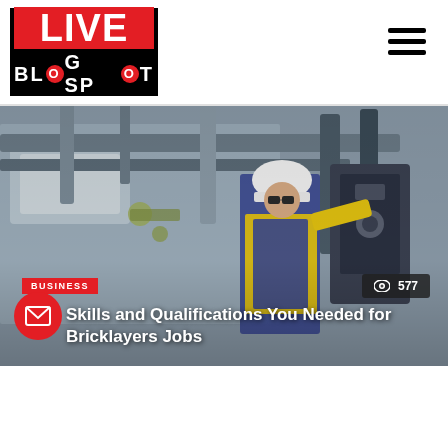[Figure (logo): Live Blog Spot logo — red and black square with LIVE in red banner and BLOG SPOT text below]
[Figure (photo): Industrial worker in yellow high-visibility vest and white hard hat working on machinery with pipes and hoses in a factory or industrial setting]
BUSINESS
577
Skills and Qualifications You Needed for Bricklayers Jobs